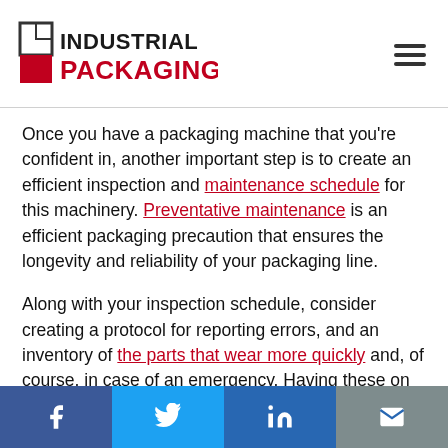Industrial Packaging
Once you have a packaging machine that you're confident in, another important step is to create an efficient inspection and maintenance schedule for this machinery. Preventative maintenance is an efficient packaging precaution that ensures the longevity and reliability of your packaging line.
Along with your inspection schedule, consider creating a protocol for reporting errors, and an inventory of the parts that wear more quickly and, of course, in case of an emergency. Having these on hand can significantly reduce downtime on your packaging line, and performing regular
Social share bar: Facebook, Twitter, LinkedIn, Email